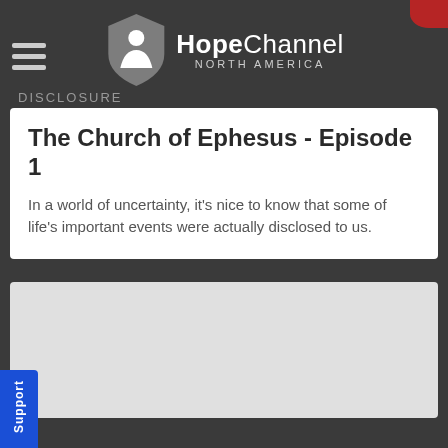[Figure (logo): Hope Channel North America logo with shield/person icon and text]
The Church of Ephesus - Episode 1
In a world of uncertainty, it's nice to know that some of life's important events were actually disclosed to us.
[Figure (other): Video player area, light gray placeholder]